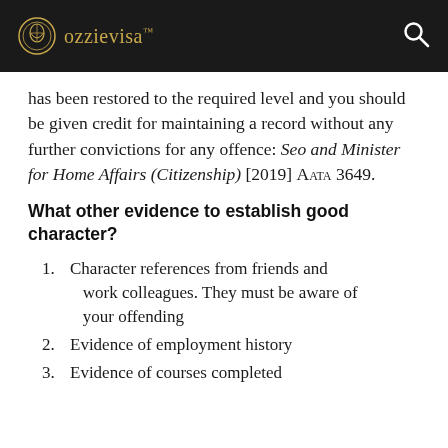ozzievisa
has been restored to the required level and you should be given credit for maintaining a record without any further convictions for any offence: Seo and Minister for Home Affairs (Citizenship) [2019] AATA 3649.
What other evidence to establish good character?
1. Character references from friends and work colleagues. They must be aware of your offending
2. Evidence of employment history
3. Evidence of courses completed